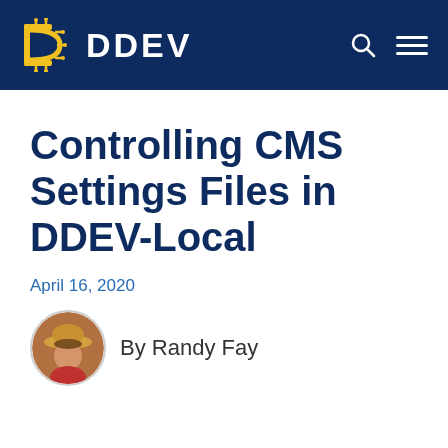DDEV
Controlling CMS Settings Files in DDEV-Local
April 16, 2020
By Randy Fay